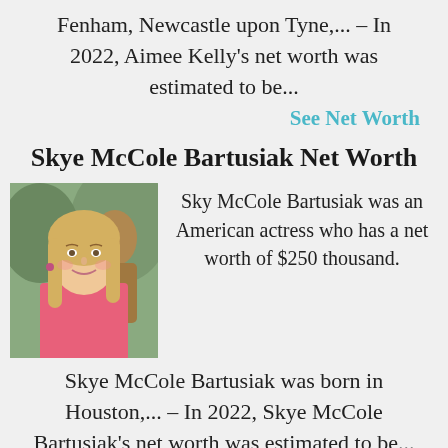Fenham, Newcastle upon Tyne,... – In 2022, Aimee Kelly's net worth was estimated to be...
See Net Worth
Skye McCole Bartusiak Net Worth
[Figure (photo): Photo of a young blonde woman smiling, with another figure visible in background]
Sky McCole Bartusiak was an American actress who has a net worth of $250 thousand.
Skye McCole Bartusiak was born in Houston,... – In 2022, Skye McCole Bartusiak's net worth was estimated to be...